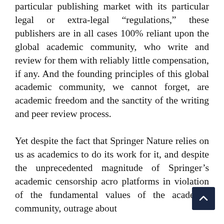particular publishing market with its particular legal or extra-legal “regulations,” these publishers are in all cases 100% reliant upon the global academic community, who write and review for them with reliably little compensation, if any. And the founding principles of this global academic community, we cannot forget, are academic freedom and the sanctity of the writing and peer review process.
Yet despite the fact that Springer Nature relies on us as academics to do its work for it, and despite the unprecedented magnitude of Springer’s academic censorship acro… platforms in violation of the fundamental values of the academic community, outrage about